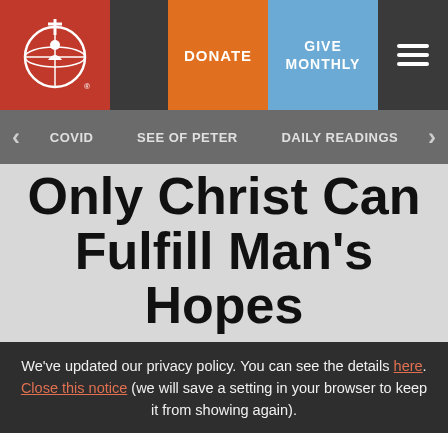[Figure (logo): White globe with cross/figure icon on red background — Catholic charity organization logo]
DONATE | GIVE MONTHLY | menu
< COVID   SEE OF PETER   DAILY READINGS >
Only Christ Can Fulfill Man's Hopes
We've updated our privacy policy. You can see the details here. Close this notice (we will save a setting in your browser to keep it from showing again).